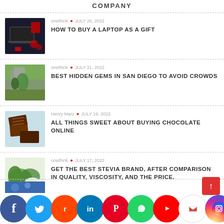COMPANY
onethink • JULY 26, 2022 — HOW TO BUY A LAPTOP AS A GIFT
onethink • JULY 21, 2022 — BEST HIDDEN GEMS IN SAN DIEGO TO AVOID CROWDS
Henry Marc • JULY 19, 2022 — ALL THINGS SWEET ABOUT BUYING CHOCOLATE ONLINE
onethink • JULY 17, 2022 — GET THE BEST STEVIA BRAND, AFTER COMPARISON IN QUALITY, VISCOSITY, AND THE PRICE.
[Figure (screenshot): Social media share buttons bar at the bottom: Facebook, Twitter, Reddit, LinkedIn, Pinterest, WhatsApp, YouTube, Gmail, Instagram, Messenger, Yahoo]